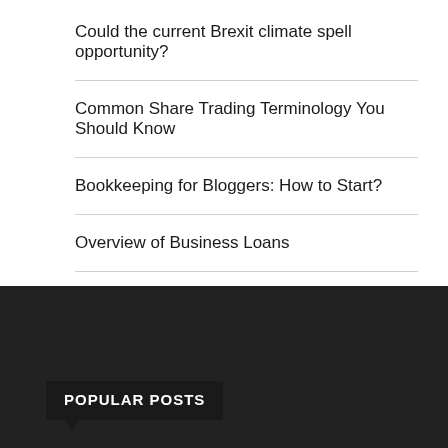Could the current Brexit climate spell opportunity?
Common Share Trading Terminology You Should Know
Bookkeeping for Bloggers: How to Start?
Overview of Business Loans
Branding 101: What is Spiral Branding?
POPULAR POSTS